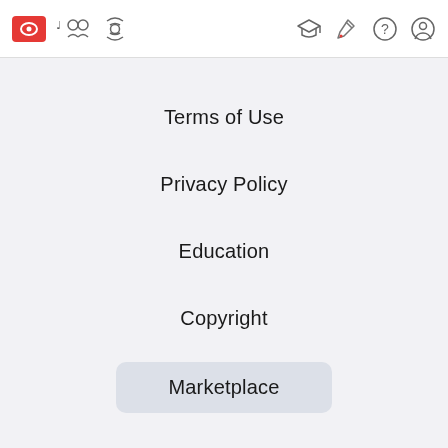Navigation bar with logo, social icons, and utility icons
Terms of Use
Privacy Policy
Education
Copyright
Marketplace